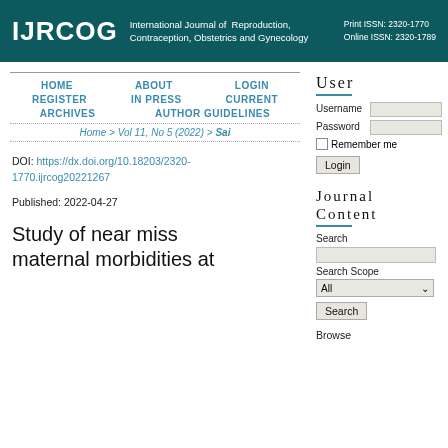IJRCOG International Journal of Reproduction, Contraception, Obstetrics and Gynecology Print ISSN: 2320-1770 Online ISSN: 2320-1789
HOME   ABOUT   LOGIN
REGISTER   IN PRESS   CURRENT
ARCHIVES   AUTHOR GUIDELINES
Home > Vol 11, No 5 (2022) > Sai
DOI: https://dx.doi.org/10.18203/2320-1770.ijrcog20221267
Published: 2022-04-27
Study of near miss maternal morbidities at
User
Username
Password
Remember me
Login
Journal Content
Search
Search Scope
All
Search
Browse